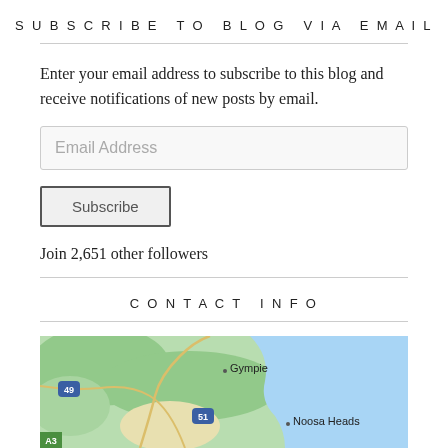SUBSCRIBE TO BLOG VIA EMAIL
Enter your email address to subscribe to this blog and receive notifications of new posts by email.
[Figure (screenshot): Email Address input field (text box)]
[Figure (screenshot): Subscribe button]
Join 2,651 other followers
CONTACT INFO
[Figure (map): Google Map showing Gympie and Noosa Heads area in Queensland, Australia, with road 49, road 51, and road A3 visible.]